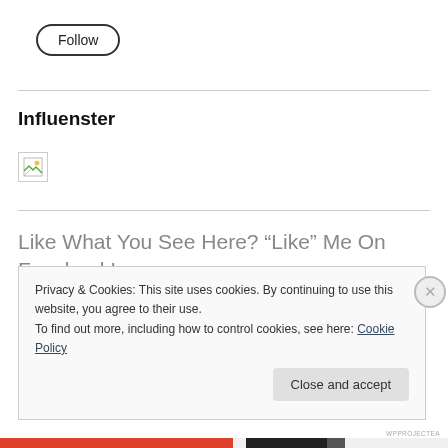Follow
Influenster
[Figure (other): Broken image placeholder icon]
Like What You See Here? “Like” Me On Facebook!
Privacy & Cookies: This site uses cookies. By continuing to use this website, you agree to their use.
To find out more, including how to control cookies, see here: Cookie Policy
Close and accept